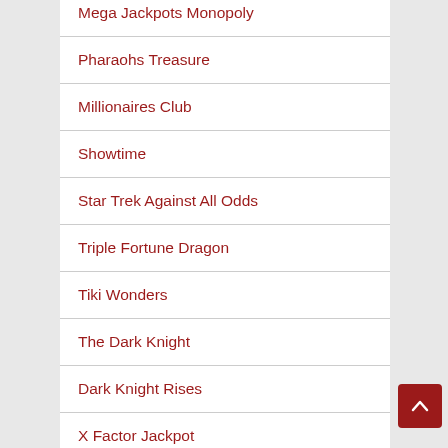Mega Jackpots Monopoly
Pharaohs Treasure
Millionaires Club
Showtime
Star Trek Against All Odds
Triple Fortune Dragon
Tiki Wonders
The Dark Knight
Dark Knight Rises
X Factor Jackpot
Voila!